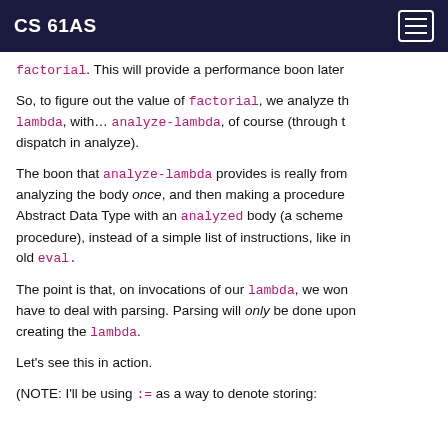CS 61AS
factorial. This will provide a performance boon later
So, to figure out the value of factorial, we analyze the lambda, with... analyze-lambda, of course (through the dispatch in analyze).
The boon that analyze-lambda provides is really from analyzing the body once, and then making a procedure Abstract Data Type with an analyzed body (a scheme procedure), instead of a simple list of instructions, like in old eval.
The point is that, on invocations of our lambda, we won't have to deal with parsing. Parsing will only be done upon creating the lambda.
Let's see this in action.
(NOTE: I'll be using := as a way to denote storing: